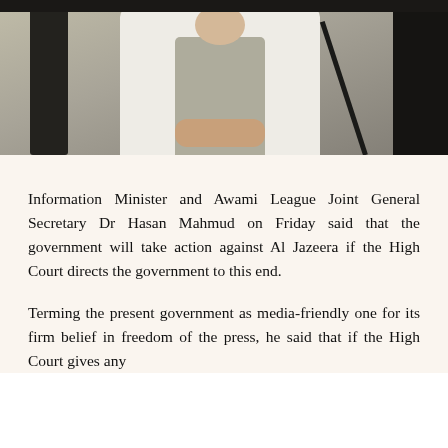[Figure (photo): A person dressed in white clothing (kurta/shirt) with a gray vest, seated, with a microphone stand visible to the right. A dark chair back is visible on the left side.]
Information Minister and Awami League Joint General Secretary Dr Hasan Mahmud on Friday said that the government will take action against Al Jazeera if the High Court directs the government to this end.
Terming the present government as media-friendly one for its firm belief in freedom of the press, he said that if the High Court gives any